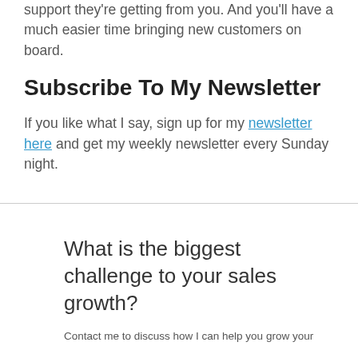support they're getting from you. And you'll have a much easier time bringing new customers on board.
Subscribe To My Newsletter
If you like what I say, sign up for my newsletter here and get my weekly newsletter every Sunday night.
What is the biggest challenge to your sales growth?
Contact me to discuss how I can help you grow your